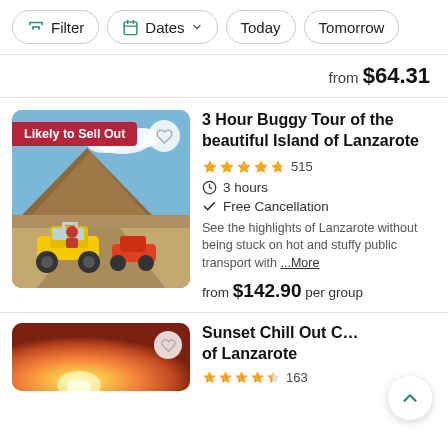Filter | Dates | Today | Tomorrow
from $64.31
[Figure (photo): Yellow buggy/dune buggy on a dirt road with a volcanic hill in the background, Lanzarote. Badge: 'Likely to Sell Out']
3 Hour Buggy Tour of the beautiful Island of Lanzarote
★★★★½ 515
3 hours
Free Cancellation
See the highlights of Lanzarote without being stuck on hot and stuffy public transport with ...More
from $142.90 per group
[Figure (photo): Sunset image with warm orange/golden tones over Lanzarote]
Sunset Chill Out C… of Lanzarote
★★★★½ 163